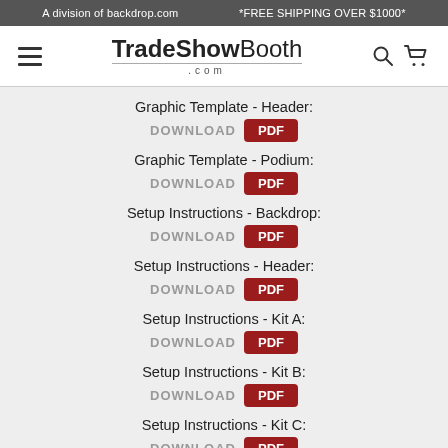A division of backdrop.com   *FREE SHIPPING OVER $1000*
TradeShowBooth.com
Graphic Template - Header: DOWNLOAD PDF
Graphic Template - Podium: DOWNLOAD PDF
Setup Instructions - Backdrop: DOWNLOAD PDF
Setup Instructions - Header: DOWNLOAD PDF
Setup Instructions - Kit A: DOWNLOAD PDF
Setup Instructions - Kit B: DOWNLOAD PDF
Setup Instructions - Kit C: DOWNLOAD PDF